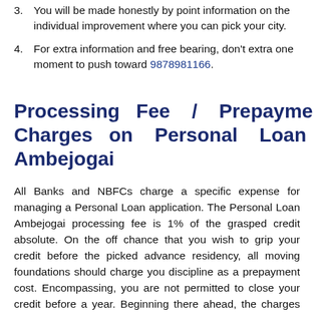3. You will be made honestly by point information on the individual improvement where you can pick your city.
4. For extra information and free bearing, don't extra one moment to push toward 9878981166.
Processing Fee / Prepayment Charges on Personal Loan Ambejogai
All Banks and NBFCs charge a specific expense for managing a Personal Loan application. The Personal Loan Ambejogai processing fee is 1% of the grasped credit absolute. On the off chance that you wish to grip your credit before the picked advance residency, all moving foundations should charge you discipline as a prepayment cost. Encompassing, you are not permitted to close your credit before a year. Beginning there ahead, the charges contrast subject to how long the credit has